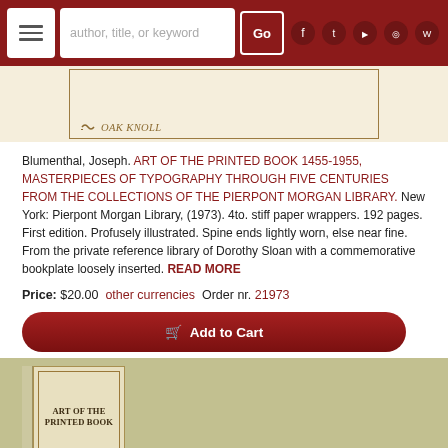Navigation bar with menu, search, Go button, and social media icons
[Figure (photo): Top portion of a book cover showing Oak Knoll logo/label on cream/beige background with brown border frame]
Blumenthal, Joseph. ART OF THE PRINTED BOOK 1455-1955, MASTERPIECES OF TYPOGRAPHY THROUGH FIVE CENTURIES FROM THE COLLECTIONS OF THE PIERPONT MORGAN LIBRARY. New York: Pierpont Morgan Library, (1973). 4to. stiff paper wrappers. 192 pages. First edition. Profusely illustrated. Spine ends lightly worn, else near fine. From the private reference library of Dorothy Sloan with a commemorative bookplate loosely inserted. READ MORE
Price: $20.00  other currencies  Order nr. 21973
Add to Cart
[Figure (photo): Bottom portion of a book cover showing 'ART OF THE PRINTED BOOK' text on cream colored background with a brown border, against an olive/tan colored background]